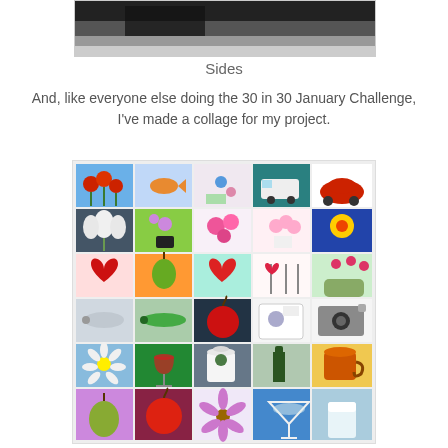[Figure (photo): Partial top image of a dark/monochrome scene, cropped at top of page]
Sides
And, like everyone else doing the 30 in 30 January Challenge, I've made a collage for my project.
[Figure (illustration): A 5x6 collage of 30 small paintings including flowers, hearts, fruits, vehicles, cameras, beverages, and other still-life subjects for the 30 in 30 January Challenge]